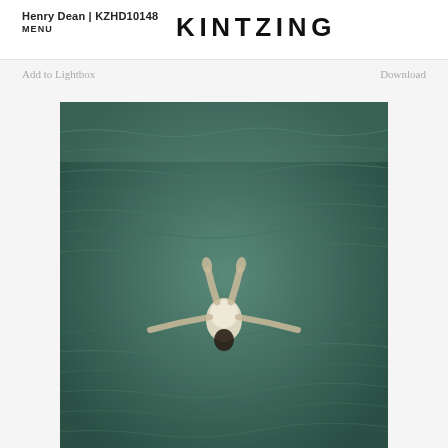Henry Dean | KZHD10148
MENU
KINTZING
Add to Lightbox
Download
[Figure (photo): Aerial view of a person floating on their back in dark green rippling water, arms spread wide, wearing a white swimsuit, photographed from above.]